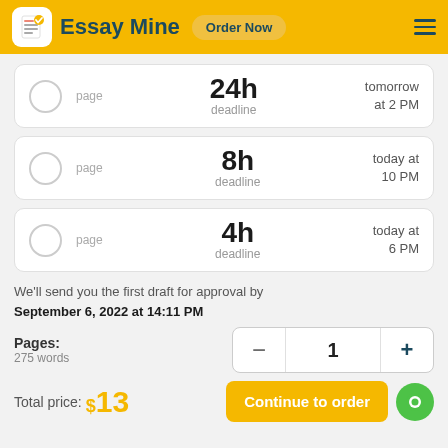Essay Mine  Order Now
24h deadline — tomorrow at 2 PM — page
8h deadline — today at 10 PM — page
4h deadline — today at 6 PM — page
We'll send you the first draft for approval by September 6, 2022 at 14:11 PM
Pages:
275 words
Total price: $13
Continue to order